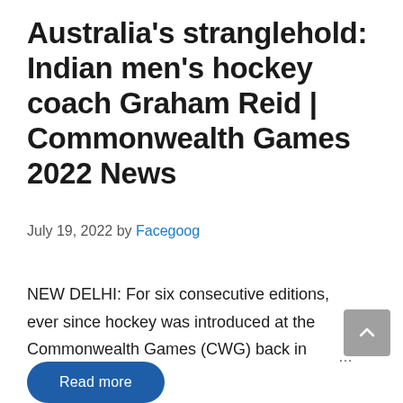Australia's stranglehold: Indian men's hockey coach Graham Reid | Commonwealth Games 2022 News
July 19, 2022 by Facegoog
NEW DELHI: For six consecutive editions, ever since hockey was introduced at the Commonwealth Games (CWG) back in ...